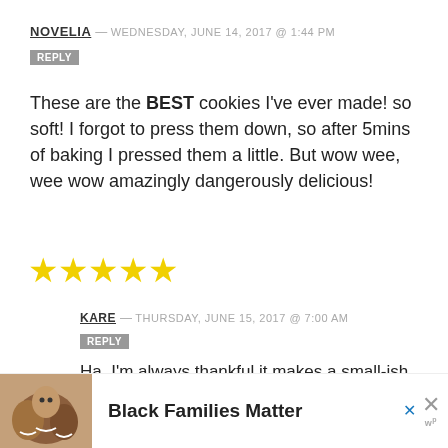NOVELIA — WEDNESDAY, JUNE 14, 2017 @ 1:44 PM
REPLY
These are the BEST cookies I've ever made! so soft! I forgot to press them down, so after 5mins of baking I pressed them a little. But wow wee, wee wow amazingly dangerously delicious!
[Figure (illustration): Five yellow star rating icons]
KARE — THURSDAY, JUNE 15, 2017 @ 7:00 AM
REPLY
Ha, I'm always thankful it makes a small-ish batch because they really ARE
[Figure (photo): Advertisement banner: photo of smiling family on left, bold text 'Black Families Matter' with close buttons on right]